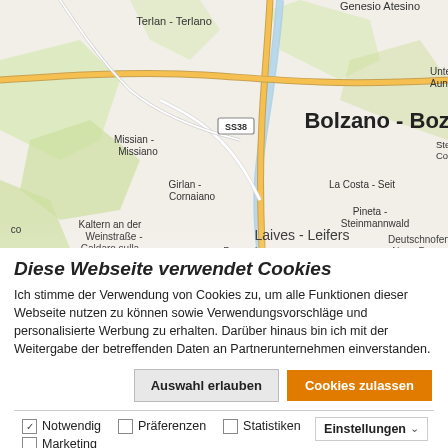[Figure (map): OpenStreetMap-style map showing the Bolzano-Bozen area in South Tyrol, Italy. Visible place names include Bolzano-Bozen, Terlan-Terlano, Genesio Atesino, Unterinn-Auna di Sotto, Missian-Missiano, SS38 road marker, Steiner-Collepietra, Girlan-Cornaiano, La Costa-Seit, Pineta-Steinmannwald, Kaltern an der Weinstraße-Caldaro sulla, Laives-Leifers, Deutschnofen-Nova Ponente, Bronzolo. Roads, terrain and river visible.]
Diese Webseite verwendet Cookies
Ich stimme der Verwendung von Cookies zu, um alle Funktionen dieser Webseite nutzen zu können sowie Verwendungsvorschläge und personalisierte Werbung zu erhalten. Darüber hinaus bin ich mit der Weitergabe der betreffenden Daten an Partnerunternehmen einverstanden.
Auswahl erlauben | Cookies zulassen
✓ Notwendig  □ Präferenzen  □ Statistiken  □ Marketing  Einstellungen ∨